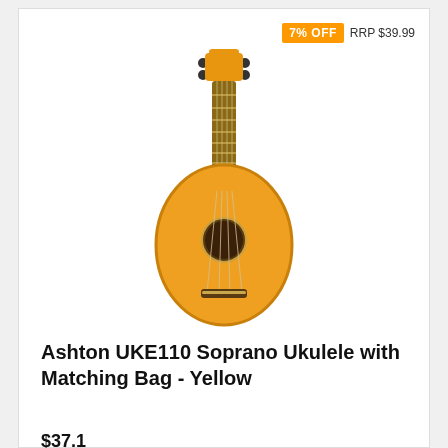[Figure (photo): Yellow Ashton UKE110 Soprano Ukulele with matching yellow bag, shown upright against white background]
7% OFF
RRP $39.99
Ashton UKE110 Soprano Ukulele with Matching Bag - Yellow
$37.1